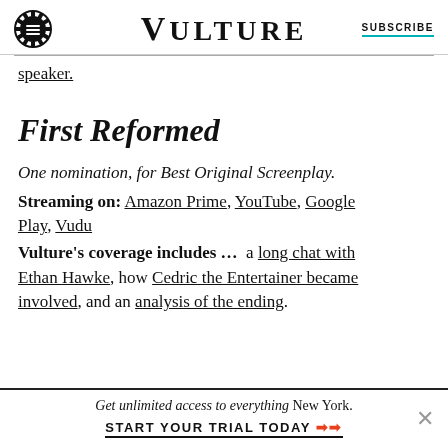VULTURE | SUBSCRIBE
speaker.
First Reformed
One nomination, for Best Original Screenplay.
Streaming on: Amazon Prime, YouTube, Google Play, Vudu
Vulture's coverage includes … a long chat with Ethan Hawke, how Cedric the Entertainer became involved, and an analysis of the ending.
Get unlimited access to everything New York. START YOUR TRIAL TODAY ➤➤